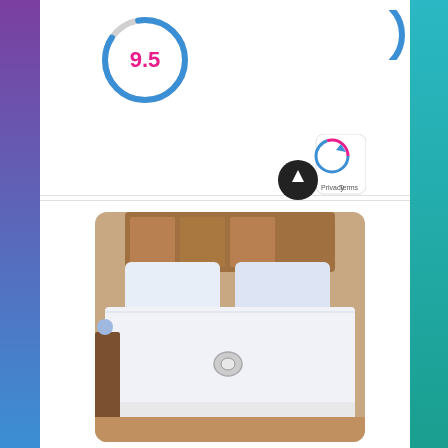[Figure (other): Score circle showing 9.5 rating, partial view at top of page]
[Figure (photo): Product photo of a white heated electric mattress pad on a bed with wooden headboard]
Perfect Fit SoftHeat | Smart Heated Electric Mattress Pad with Safe & Warm Low Voltage Technology, Micro-Plush Top, King, White
[Figure (other): Buy Now pink button]
[Figure (other): Cookie/privacy badge with circular arrow icon and Privacy Terms text]